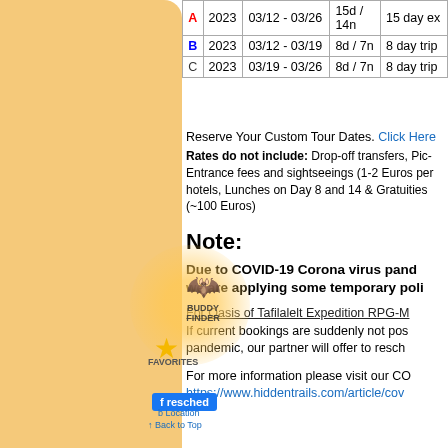|  | Year | Dates | Duration | Description |
| --- | --- | --- | --- | --- |
| A | 2023 | 03/12 - 03/26 | 15d / 14n | 15 day ex |
| B | 2023 | 03/12 - 03/19 | 8d / 7n | 8 day trip |
| C | 2023 | 03/19 - 03/26 | 8d / 7n | 8 day trip |
Reserve Your Custom Tour Dates. Click Here
Rates do not include: Drop-off transfers, Pic- Entrance fees and sightseeings (1-2 Euros per hotels, Lunches on Day 8 and 14 & Gratuities (~100 Euros)
Note:
Due to COVID-19 Corona virus pande we are applying some temporary polic
For Oasis of Tafilalelt Expedition RPG-M If current bookings are suddenly not pos pandemic, our partner will offer to resch
For more information please visit our CO https://www.hiddentrails.com/article/cov